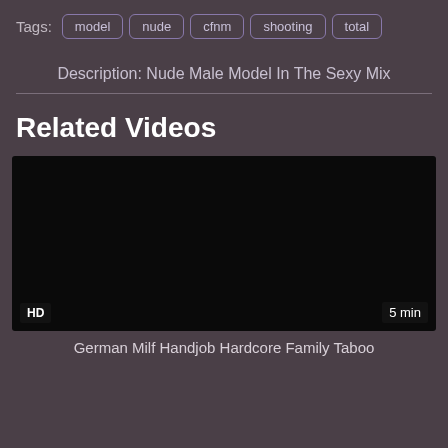Tags: model nude cfnm shooting total
Description: Nude Male Model In The Sexy Mix
Related Videos
[Figure (screenshot): Black video thumbnail with HD badge bottom-left and 5 min badge bottom-right]
German Milf Handjob Hardcore Family Taboo